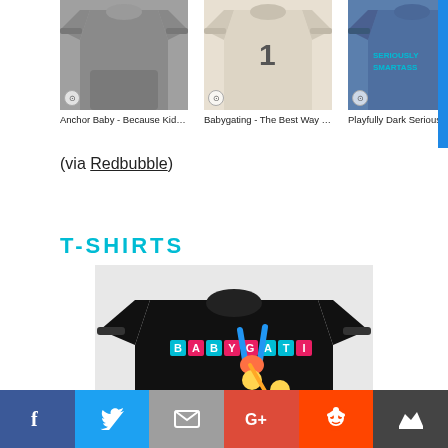[Figure (photo): Three sweatshirt product listings showing: 'Anchor Baby - Because Kids Wei...', 'Babygating - The Best Way To Dr...', 'Playfully Dark Seriously Smartas...']
(via Redbubble)
T-SHIRTS
[Figure (photo): Black t-shirt with cartoon illustration and 'BABYGATING' text in colorful letter blocks, featuring animated characters]
[Figure (other): Social sharing bar with icons for Facebook, Twitter, Email, Google+, Reddit, and crown/bookmark]